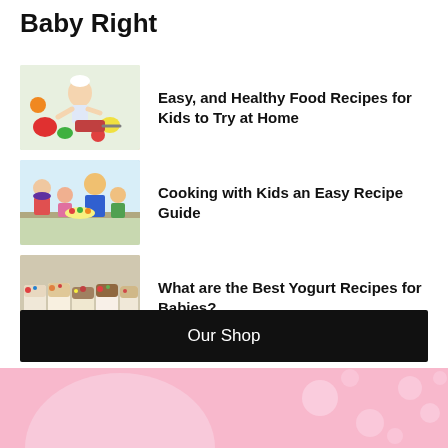Baby Right
[Figure (photo): Child dressed as chef cooking with vegetables and fruits around]
Easy, and Healthy Food Recipes for Kids to Try at Home
[Figure (illustration): Cartoon family (mother, father, two children) cooking together in kitchen]
Cooking with Kids an Easy Recipe Guide
[Figure (photo): Row of yogurt jars with fruits and toppings]
What are the Best Yogurt Recipes for Babies?
Our Shop
[Figure (photo): Pink background with polka dots - partial bottom image]